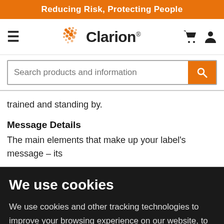Reducing Risk, Protecting People
[Figure (logo): Clarion brand logo with orange star/cross graphic and wordmark 'Clarion' with registered trademark symbol]
trained and standing by.
Message Details
The main elements that make up your label's message – its
We use cookies
We use cookies and other tracking technologies to improve your browsing experience on our website, to show you personalized content and targeted ads, to analyze our website traffic, and